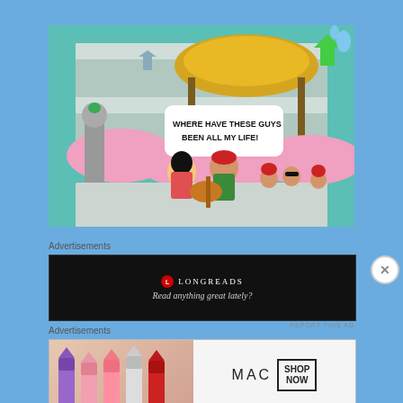[Figure (screenshot): Animated cartoon game screenshot showing characters playing music under a thatched-roof hut, with a speech bubble reading 'WHERE HAVE THESE GUYS BEEN ALL MY LIFE!' on a colorful background with pink clouds and teal walls.]
Advertisements
[Figure (screenshot): Black advertisement banner for Longreads showing the Longreads logo (red circle with L) and the tagline 'Read anything great lately?']
REPORT THIS AD
Advertisements
[Figure (screenshot): MAC Cosmetics advertisement showing colorful lipsticks on the left side and the MAC logo with a 'SHOP NOW' button on the right side on a light background.]